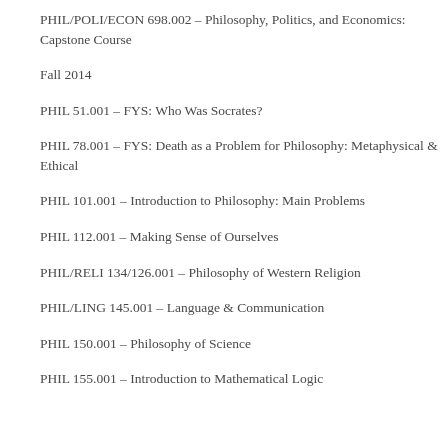PHIL/POLI/ECON 698.002 – Philosophy, Politics, and Economics: Capstone Course
Fall 2014
PHIL 51.001 – FYS: Who Was Socrates?
PHIL 78.001 – FYS: Death as a Problem for Philosophy: Metaphysical & Ethical
PHIL 101.001 – Introduction to Philosophy: Main Problems
PHIL 112.001 – Making Sense of Ourselves
PHIL/RELI 134/126.001 – Philosophy of Western Religion
PHIL/LING 145.001 – Language & Communication
PHIL 150.001 – Philosophy of Science
PHIL 155.001 – Introduction to Mathematical Logic